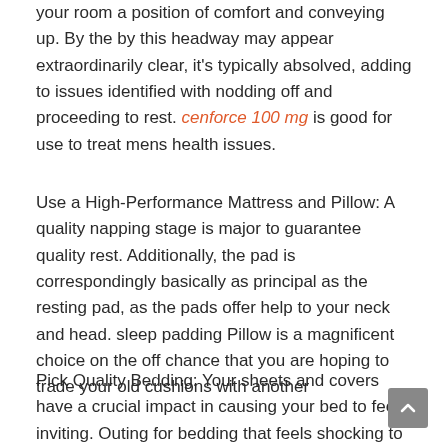your room a position of comfort and conveying up. By the by this headway may appear extraordinarily clear, it's typically absolved, adding to issues identified with nodding off and proceeding to rest. cenforce 100 mg is good for use to treat mens health issues.
Use a High-Performance Mattress and Pillow: A quality napping stage is major to guarantee quality rest. Additionally, the pad is correspondingly basically as principal as the resting pad, as the pads offer help to your neck and head. sleep padding Pillow is a magnificent choice on the off chance that you are hoping to trade your old cushions with another
Pick Quality Bedding: Your sheets and covers have a crucial impact in causing your bed to feel inviting. Outing for bedding that feels shocking to the touch and that will